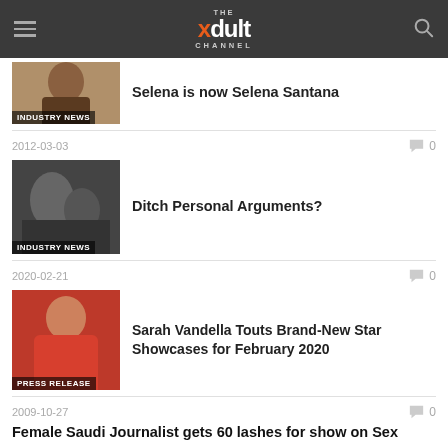THE xdult CHANNEL
Selena is now Selena Santana
INDUSTRY NEWS
2012-03-03
0
Ditch Personal Arguments?
INDUSTRY NEWS
2020-02-21
0
Sarah Vandella Touts Brand-New Star Showcases for February 2020
PRESS RELEASE
2009-10-27
0
Female Saudi Journalist gets 60 lashes for show on Sex
2009-11-17
0